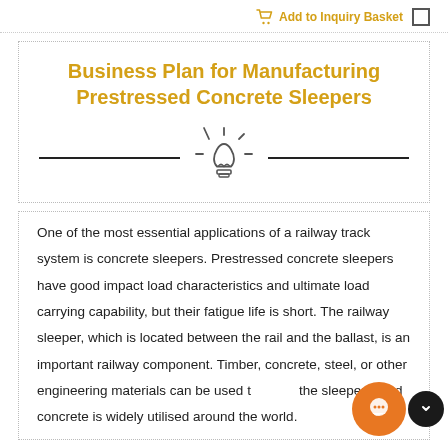Add to Inquiry Basket
Business Plan for Manufacturing Prestressed Concrete Sleepers
[Figure (illustration): Horizontal divider with a lightbulb icon in the center]
One of the most essential applications of a railway track system is concrete sleepers. Prestressed concrete sleepers have good impact load characteristics and ultimate load carrying capability, but their fatigue life is short. The railway sleeper, which is located between the rail and the ballast, is an important railway component. Timber, concrete, steel, or other engineering materials can be used to make the sleepers, and concrete is widely utilised around the world.